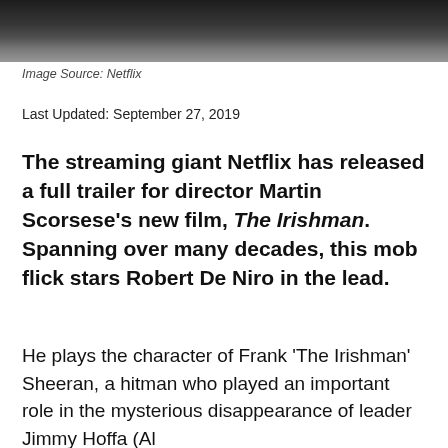[Figure (photo): Dark cinematic still from Netflix film The Irishman showing figures in dim lighting]
Image Source: Netflix
Last Updated: September 27, 2019
The streaming giant Netflix has released a full trailer for director Martin Scorsese's new film, The Irishman. Spanning over many decades, this mob flick stars Robert De Niro in the lead.
He plays the character of Frank 'The Irishman' Sheeran, a hitman who played an important role in the mysterious disappearance of leader Jimmy Hoffa (Al